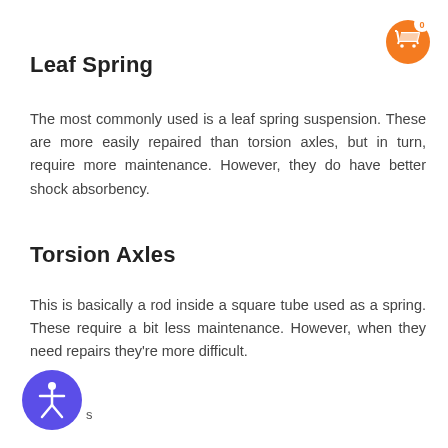[Figure (other): Orange circular shopping cart icon with badge showing 0 in top right corner]
Leaf Spring
The most commonly used is a leaf spring suspension. These are more easily repaired than torsion axles, but in turn, require more maintenance. However, they do have better shock absorbency.
Torsion Axles
This is basically a rod inside a square tube used as a spring. These require a bit less maintenance. However, when they need repairs they're more difficult.
[Figure (illustration): Blue/purple circular accessibility icon with person figure, and partial text 's' visible to the right]